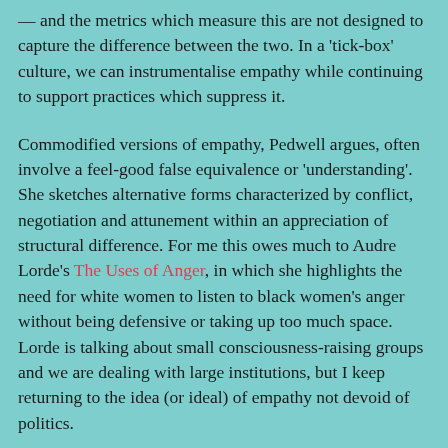— and the metrics which measure this are not designed to capture the difference between the two. In a 'tick-box' culture, we can instrumentalise empathy while continuing to support practices which suppress it.
Commodified versions of empathy, Pedwell argues, often involve a feel-good false equivalence or 'understanding'. She sketches alternative forms characterized by conflict, negotiation and attunement within an appreciation of structural difference. For me this owes much to Audre Lorde's The Uses of Anger, in which she highlights the need for white women to listen to black women's anger without being defensive or taking up too much space. Lorde is talking about small consciousness-raising groups and we are dealing with large institutions, but I keep returning to the idea (or ideal) of empathy not devoid of politics.